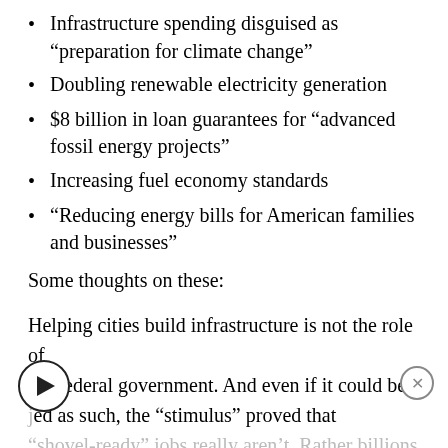Infrastructure spending disguised as “preparation for climate change”
Doubling renewable electricity generation
$8 billion in loan guarantees for “advanced fossil energy projects”
Increasing fuel economy standards
“Reducing energy bills for American families and businesses”
Some thoughts on these:
Helping cities build infrastructure is not the role of the federal government. And even if it could be justified as such, the “stimulus” proved that “shovel-ready” jobs really aren’t. Rather billions of dollars get funneled to the administration’s...